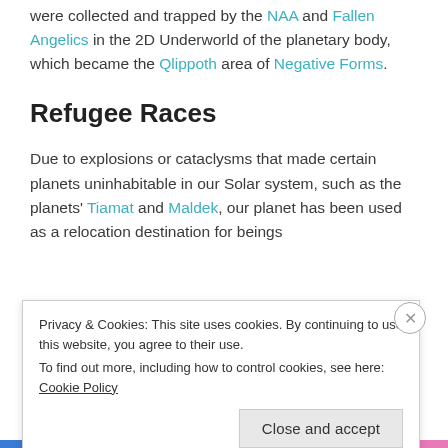were collected and trapped by the NAA and Fallen Angelics in the 2D Underworld of the planetary body, which became the Qlippoth area of Negative Forms.
Refugee Races
Due to explosions or cataclysms that made certain planets uninhabitable in our Solar system, such as the planets' Tiamat and Maldek, our planet has been used as a relocation destination for beings
Privacy & Cookies: This site uses cookies. By continuing to use this website, you agree to their use.
To find out more, including how to control cookies, see here: Cookie Policy